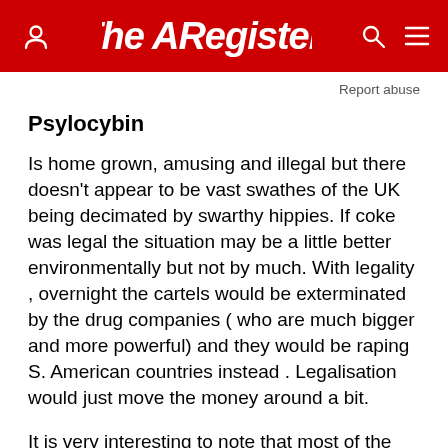The Register
Report abuse
Psylocybin
Is home grown, amusing and illegal but there doesn't appear to be vast swathes of the UK being decimated by swarthy hippies. If coke was legal the situation may be a little better environmentally but not by much. With legality , overnight the cartels would be exterminated by the drug companies ( who are much bigger and more powerful) and they would be raping S. American countries instead . Legalisation would just move the money around a bit.
It is very interesting to note that most of the posts on this issue have a kind of supporting tone for coke. If you really want to know what is good or bad for you don't read the papers or watch TV , subscribe to one or more of the excellent free science mags online, they are generally without political bias.